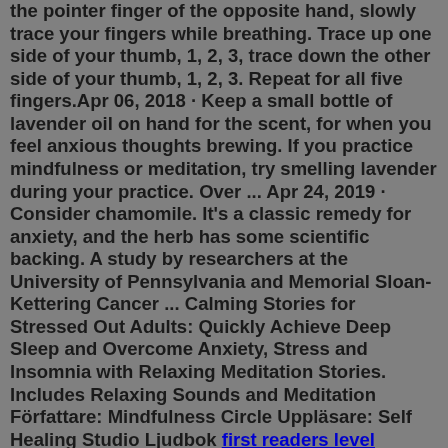the pointer finger of the opposite hand, slowly trace your fingers while breathing. Trace up one side of your thumb, 1, 2, 3, trace down the other side of your thumb, 1, 2, 3. Repeat for all five fingers.Apr 06, 2018 · Keep a small bottle of lavender oil on hand for the scent, for when you feel anxious thoughts brewing. If you practice mindfulness or meditation, try smelling lavender during your practice. Over ... Apr 24, 2019 · Consider chamomile. It's a classic remedy for anxiety, and the herb has some scientific backing. A study by researchers at the University of Pennsylvania and Memorial Sloan-Kettering Cancer ... Calming Stories for Stressed Out Adults: Quickly Achieve Deep Sleep and Overcome Anxiety, Stress and Insomnia with Relaxing Meditation Stories. Includes Relaxing Sounds and Meditation Författare: Mindfulness Circle Uppläsare: Self Healing Studio Ljudbok first readers level 1sooley reviewsgood series of books to readtheanne